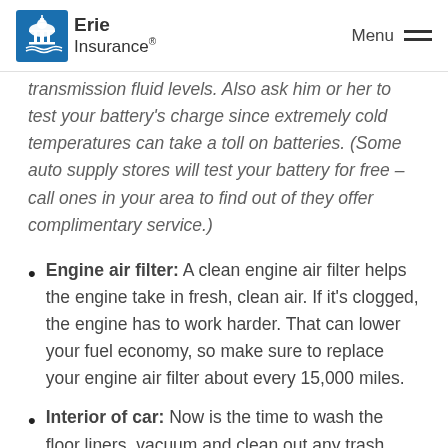Erie Insurance | Menu
transmission fluid levels. Also ask him or her to test your battery's charge since extremely cold temperatures can take a toll on batteries. (Some auto supply stores will test your battery for free – call ones in your area to find out of they offer complimentary service.)
Engine air filter: A clean engine air filter helps the engine take in fresh, clean air. If it's clogged, the engine has to work harder. That can lower your fuel economy, so make sure to replace your engine air filter about every 15,000 miles.
Interior of car: Now is the time to wash the floor liners, vacuum and clean out any trash that's accumulated. You might also consider applying a protective dressing to the interior